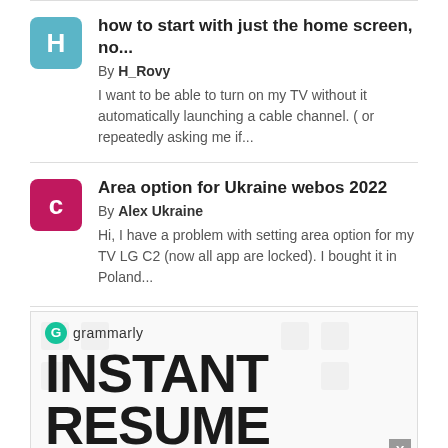how to start with just the home screen, no... By H_Rovy — I want to be able to turn on my TV without it automatically launching a cable channel. ( or repeatedly asking me if...
Area option for Ukraine webos 2022 By Alex Ukraine — Hi, I have a problem with setting area option for my TV LG C2 (now all app are locked). I bought it in Poland...
[Figure (screenshot): Grammarly advertisement banner showing 'INSTANT RESUME PROOFREADING' text with Grammarly logo at top and a close button (X) at bottom right.]